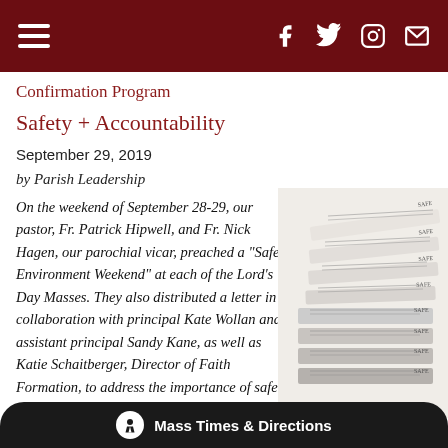Navigation bar with hamburger menu and social icons (Facebook, Twitter, Instagram, Email)
Confirmation Program
Safety + Accountability
September 29, 2019
by Parish Leadership
On the weekend of September 28-29, our pastor, Fr. Patrick Hipwell, and Fr. Nick Hagen, our parochial vicar, preached a “Safe Environment Weekend” at each of the Lord’s Day Masses. They also distributed a letter in collaboration with principal Kate Wollan and assistant principal Sandy Kane, as well as Katie Schaitberger, Director of Faith Formation, to address the importance of safety and accountability from a universal Church, as well as from a local perspective here at N
[Figure (photo): Stack of printed papers/cards with text lines visible on each page, fanned out slightly]
Mass Times & Directions